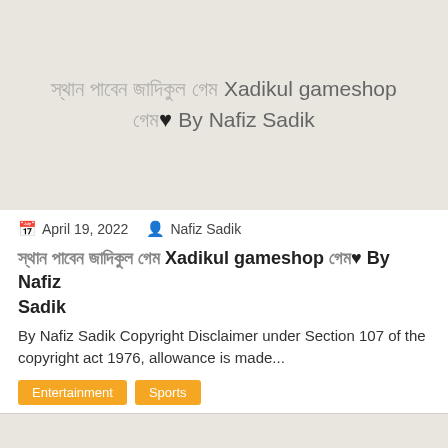[Figure (other): Article thumbnail image with light beige/grey background showing text overlay: Bengali characters and 'Xadikul gameshop' with heart symbol 'By Nafiz Sadik']
April 19, 2022  Nafiz Sadik
Bengali text Xadikul gameshop Bengali text By Nafiz Sadik
By Nafiz Sadik Copyright Disclaimer under Section 107 of the copyright act 1976, allowance is made...
Entertainment
Sports
[Figure (other): Second article thumbnail image with light beige/grey background showing Bengali characters and 'Criminal']